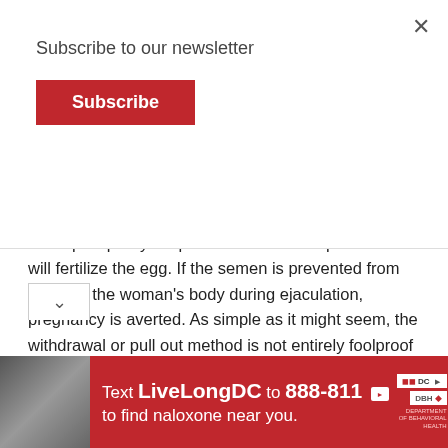Subscribe to our newsletter
Subscribe
most common means of natural contraception. The concept is pretty simple: semen carries sperm which will fertilize the egg. If the semen is prevented from entering the woman's body during ejaculation, pregnancy is averted. As simple as it might seem, the withdrawal or pull out method is not entirely foolproof - it still has a 22% chance of resulting in a pregnancy.
The Basal Body Temperature Method
[Figure (infographic): Red advertisement banner: Text LiveLongDC to 888-811 to find naloxone near you. Features DC and DBH logos on the right side, and a photo of a hand holding a syringe on the left.]